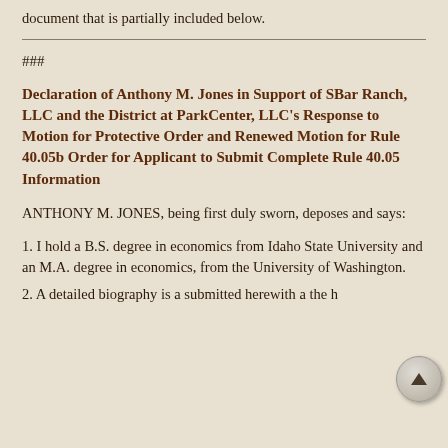document that is partially included below.
###
Declaration of Anthony M. Jones in Support of SBar Ranch, LLC and the District at ParkCenter, LLC's Response to Motion for Protective Order and Renewed Motion for Rule 40.05b Order for Applicant to Submit Complete Rule 40.05 Information
ANTHONY M. JONES, being first duly sworn, deposes and says:
1. I hold a B.S. degree in economics from Idaho State University and an M.A. degree in economics, from the University of Washington.
2. A detailed biography is submitted herewith...